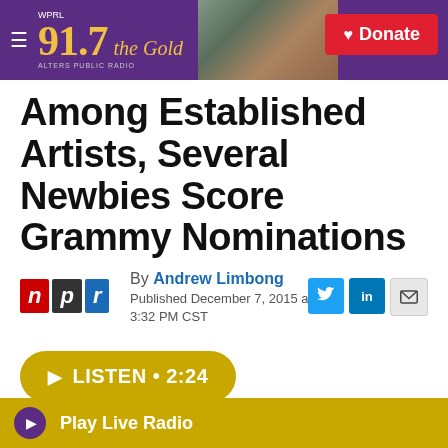[Figure (screenshot): WPRL 91.7 The Gold radio station header with purple background, gold logo text, background photo of a house, and red Donate button]
Among Established Artists, Several Newbies Score Grammy Nominations
By Andrew Limbong
Published December 7, 2015 at 3:32 PM CST
[Figure (logo): NPR logo with n in red, p in dark gray, r in blue]
[Figure (other): Listen button 2:24 in gold/yellow rounded rectangle]
Play Live Radio